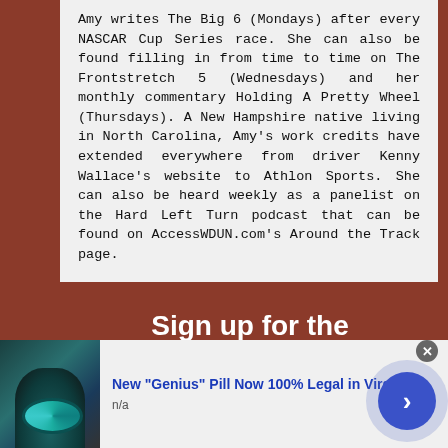Amy writes The Big 6 (Mondays) after every NASCAR Cup Series race. She can also be found filling in from time to time on The Frontstretch 5 (Wednesdays) and her monthly commentary Holding A Pretty Wheel (Thursdays). A New Hampshire native living in North Carolina, Amy's work credits have extended everywhere from driver Kenny Wallace's website to Athlon Sports. She can also be heard weekly as a panelist on the Hard Left Turn podcast that can be found on AccessWDUN.com's Around the Track page.
[Figure (infographic): Red banner with white bold text reading 'Sign up for the Frontstretch Newsletter' (partially visible, cut off at bottom)]
[Figure (infographic): Advertisement bar at bottom: thumbnail image on left showing teal/dark ring accessory, ad title 'New "Genius" Pill Now 100% Legal in Virginia', subtitle 'n/a', close button (x) top right, blue circular navigation arrow button bottom right]